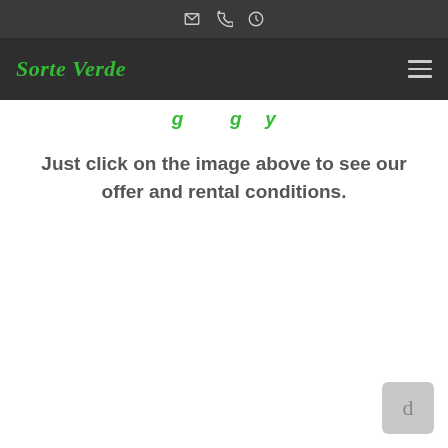[icon: envelope] [icon: phone] [icon: clock]
Sorte Verde [hamburger menu]
…g…g y…
Just click on the image above to see our offer and rental conditions.
[Figure (other): Small grey button with letter 'd' in bottom-right corner]